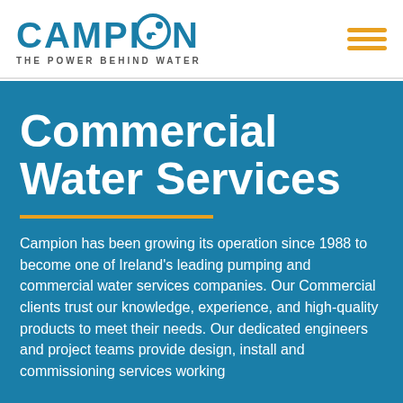[Figure (logo): Campion logo with water droplet icon and text 'THE POWER BEHIND WATER']
Commercial Water Services
Campion has been growing its operation since 1988 to become one of Ireland's leading pumping and commercial water services companies. Our Commercial clients trust our knowledge, experience, and high-quality products to meet their needs. Our dedicated engineers and project teams provide design, install and commissioning services working